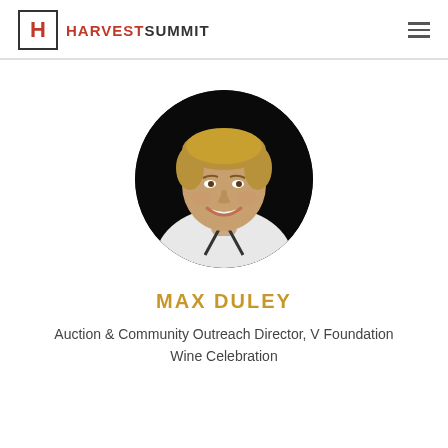HARVEST SUMMIT
[Figure (photo): Circular portrait photo of Max Duley, a man in a white chef's coat, smiling, with blond hair, against a dark background.]
MAX DULEY
Auction & Community Outreach Director, V Foundation Wine Celebration